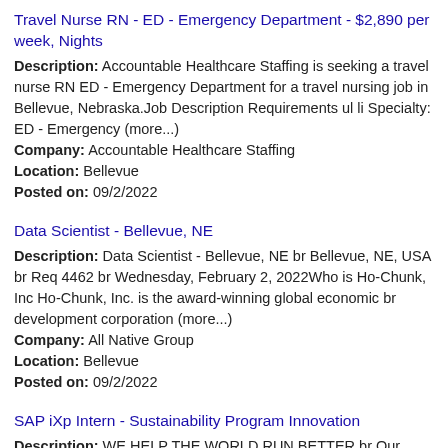Travel Nurse RN - ED - Emergency Department - $2,890 per week, Nights
Description: Accountable Healthcare Staffing is seeking a travel nurse RN ED - Emergency Department for a travel nursing job in Bellevue, Nebraska.Job Description Requirements ul li Specialty: ED - Emergency (more...)
Company: Accountable Healthcare Staffing
Location: Bellevue
Posted on: 09/2/2022
Data Scientist - Bellevue, NE
Description: Data Scientist - Bellevue, NE br Bellevue, NE, USA br Req 4462 br Wednesday, February 2, 2022Who is Ho-Chunk, Inc Ho-Chunk, Inc. is the award-winning global economic br development corporation (more...)
Company: All Native Group
Location: Bellevue
Posted on: 09/2/2022
SAP iXp Intern - Sustainability Program Innovation
Description: WE HELP THE WORLD RUN BETTER br Our company culture is focused on helping our employees enable innovation by building breakthroughs together. How We focus every day on building the foundation for tomorrow (more...)